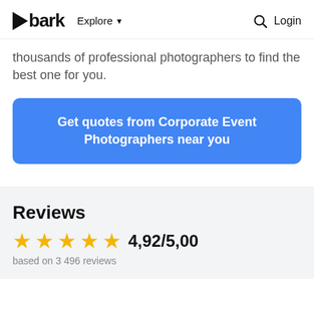bark  Explore  Login
thousands of professional photographers to find the best one for you.
Get quotes from Corporate Event Photographers near you
Reviews
4,92/5,00
based on 3 496 reviews